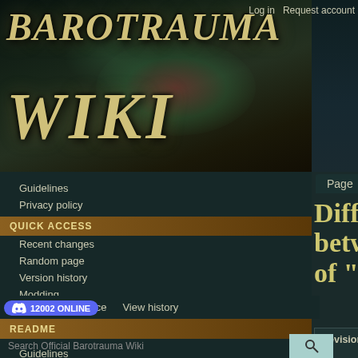[Figure (screenshot): Barotrauma Wiki logo with game artwork background showing dark underwater scene]
Log in  Request account
Page  Discussion
Difference between revisions of "Containers"
Read  View source  View history
12002 ONLINE (Discord)
README
Search Official Barotrauma Wiki
Guidelines
Privacy policy
QUICK ACCESS
Recent changes
Random page
Version history
Modding documentation
MECHANICS
Maintenance
| Revision as of 14:12, 13 July 2021 (view source) | Revision as of 10:10, 7 March 2022 (view source) |
| --- | --- |
| 31percent (talk | contribs) | Drlloyd5 (talk | contribs) |
| (Added medic crate and small | m (Removed Magnesium (it is |